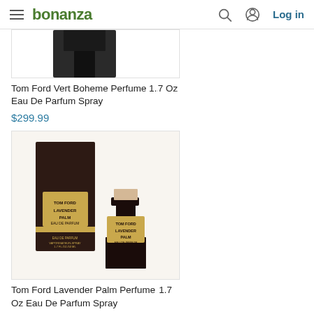bonanza — Log in
[Figure (photo): Partial product image of Tom Ford Vert Boheme perfume bottle (cropped, top portion visible)]
Tom Ford Vert Boheme Perfume 1.7 Oz Eau De Parfum Spray
$299.99
[Figure (photo): Tom Ford Lavender Palm Perfume product image showing dark brown box and black bottle with gold label reading TOM FORD LAVENDER PALM EAU DE PARFUM]
Tom Ford Lavender Palm Perfume 1.7 Oz Eau De Parfum Spray
$299.97